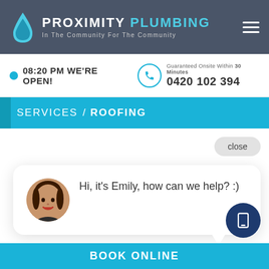PROXIMITY PLUMBING - In The Community For The Community
08:20 PM WE'RE OPEN!
Guaranteed Onsite Within 30 Minutes 0420 102 394
SERVICES / ROOFING
close
Hi, it's Emily, how can we help? :)
BOOK ONLINE